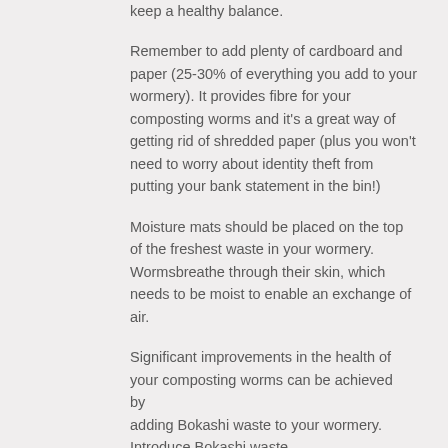keep a healthy balance.
Remember to add plenty of cardboard and paper (25-30% of everything you add to your wormery). It provides fibre for your composting worms and it's a great way of getting rid of shredded paper (plus you won't need to worry about identity theft from putting your bank statement in the bin!)
Moisture mats should be placed on the top of the freshest waste in your wormery. Wormsbreathe through their skin, which needs to be moist to enable an exchange of air.
Significant improvements in the health of your composting worms can be achieved by adding Bokashi waste to your wormery. Introduce Bokashi waste